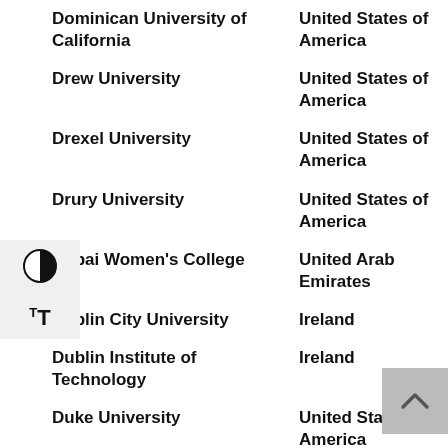Dominican University of California | United States of America
Drew University | United States of America
Drexel University | United States of America
Drury University | United States of America
Dubai Women's College | United Arab Emirates
Dublin City University | Ireland
Dublin Institute of Technology | Ireland
Duke University | United States of America
Duke-National University of Singapore Graduate Medical School | Singapore